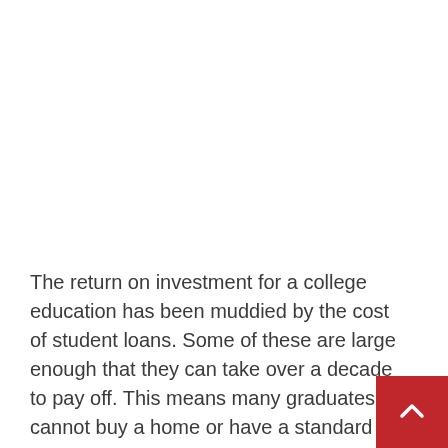The return on investment for a college education has been muddied by the cost of student loans. Some of these are large enough that they can take over a decade to pay off. This means many graduates cannot buy a home or have a standard of living to that of their parents.